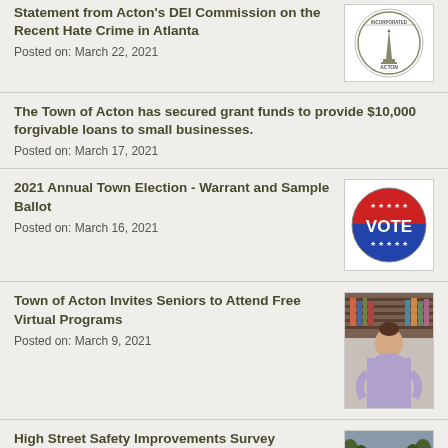Statement from Acton's DEI Commission on the Recent Hate Crime in Atlanta
Posted on: March 22, 2021
The Town of Acton has secured grant funds to provide $10,000 forgivable loans to small businesses.
Posted on: March 17, 2021
2021 Annual Town Election - Warrant and Sample Ballot
Posted on: March 16, 2021
Town of Acton Invites Seniors to Attend Free Virtual Programs
Posted on: March 9, 2021
High Street Safety Improvements Survey
Posted on: March 8, 2021